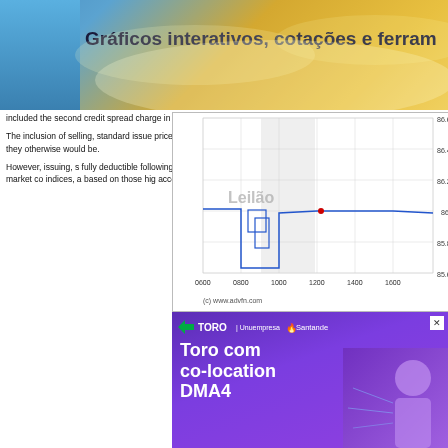Gráficos interativos, cotações e ferram...
included the second credit spread charge in other factors
[Figure (continuous-plot): Stock/bond price chart showing price range approximately 85.6 to 86.6 on y-axis, time axis from 0600 to 1600, with a step-down pattern around 0700-0800 labeled 'Leilão'. Blue line chart with shaded region around 0800-1000. Source: (c) www.advfn.com]
The inclusion of selling, standard issue price the economy they otherwise would be.
[Figure (screenshot): Toro co-location DMA4 advertisement with purple background, Toro | Unuempresa | Santander logo, and text 'Toro com co-location DMA4' with a person visible on the right side]
However, issuing, selling, fully deductible following or sell the market conditions indices, and based on those higher account of